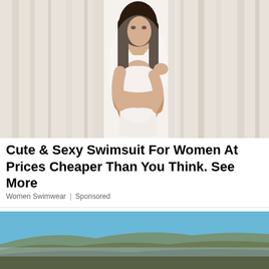[Figure (photo): Young brunette woman in white two-piece swimsuit peeking through white sheer curtains, looking at camera]
Cute & Sexy Swimsuit For Women At Prices Cheaper Than You Think. See More
Women Swimwear | Sponsored
[Figure (photo): ABBA Cadabra tribute band advertisement banner. Shows 'ABBA Cadabra' in gold stylized text, 'A TRIBUTE TO THE MUSIC OF ABBA' text, and photo of band members on dark background with scenic outdoor image behind.]